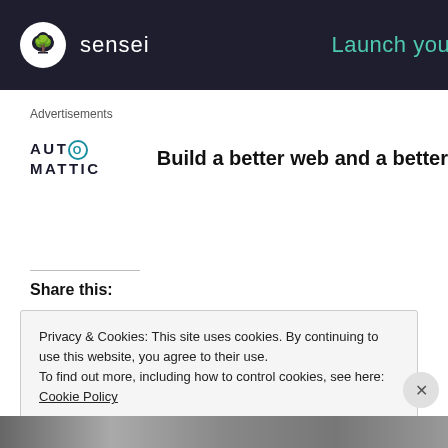[Figure (logo): Sensei navigation bar with logo icon (bonsai tree in white circle) and 'sensei' brand name in white text on dark navy background, with 'Launch your' teal link on the right]
Advertisements
[Figure (logo): Automattic logo (AUTOMATTIC with circular O) and tagline 'Build a better web and a better']
Share this:
Privacy & Cookies: This site uses cookies. By continuing to use this website, you agree to their use.
To find out more, including how to control cookies, see here: Cookie Policy
Close and accept